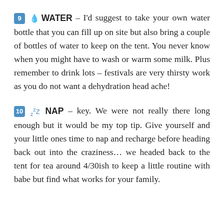9 💧 WATER – I'd suggest to take your own water bottle that you can fill up on site but also bring a couple of bottles of water to keep on the tent. You never know when you might have to wash or warm some milk. Plus remember to drink lots – festivals are very thirsty work as you do not want a dehydration head ache!
10 zzZ NAP – key. We were not really there long enough but it would be my top tip. Give yourself and your little ones time to nap and recharge before heading back out into the craziness… we headed back to the tent for tea around 4/30ish to keep a little routine with babe but find what works for your family.